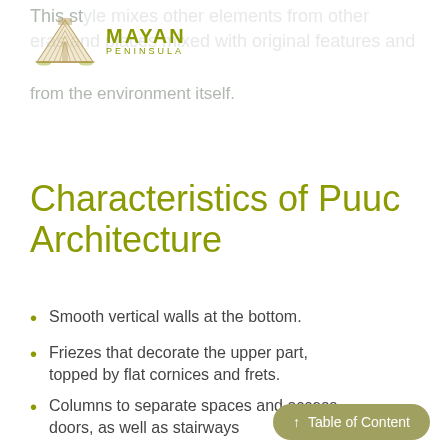This style mixes other elements from other eras and places mixed with original features and from the environment itself.
[Figure (logo): Mayan Peninsula logo with stylized pyramid illustration and text 'MAYAN PENINSULA']
Characteristics of Puuc Architecture
Smooth vertical walls at the bottom.
Friezes that decorate the upper part, topped by flat cornices and frets.
Columns to separate spaces and access doors, as well as stairways
↑ Table of Content